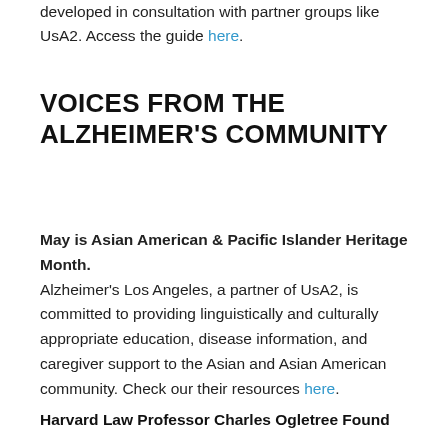developed in consultation with partner groups like UsA2. Access the guide here.
VOICES FROM THE ALZHEIMER'S COMMUNITY
May is Asian American & Pacific Islander Heritage Month. Alzheimer’s Los Angeles, a partner of UsA2, is committed to providing linguistically and culturally appropriate education, disease information, and caregiver support to the Asian and Asian American community. Check our their resources here.
Harvard Law Professor Charles Ogletree Found